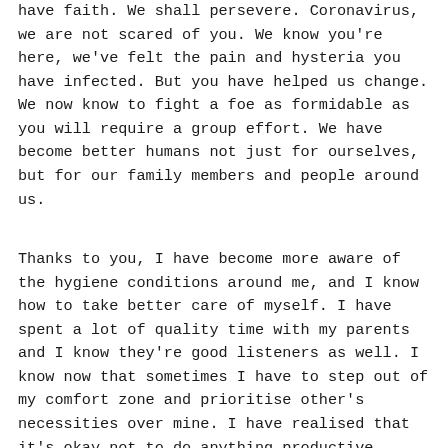have faith. We shall persevere. Coronavirus, we are not scared of you. We know you're here, we've felt the pain and hysteria you have infected. But you have helped us change. We now know to fight a foe as formidable as you will require a group effort. We have become better humans not just for ourselves, but for our family members and people around us.
Thanks to you, I have become more aware of the hygiene conditions around me, and I know how to take better care of myself. I have spent a lot of quality time with my parents and I know they're good listeners as well. I know now that sometimes I have to step out of my comfort zone and prioritise other's necessities over mine. I have realised that it's okay not to do anything productive, sometimes existing and just staring aimlessly at the ceiling is fine. You've helped me become stronger mentally as well as physically